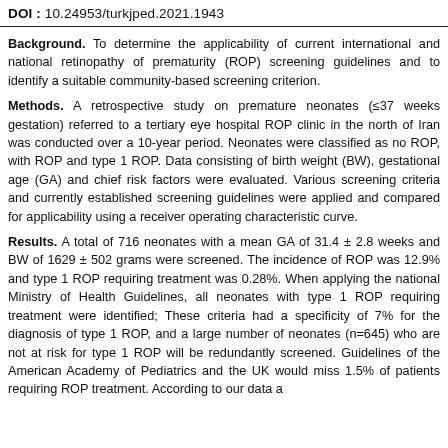DOI : 10.24953/turkjped.2021.1943
Background. To determine the applicability of current international and national retinopathy of prematurity (ROP) screening guidelines and to identify a suitable community-based screening criterion.
Methods. A retrospective study on premature neonates (≤37 weeks gestation) referred to a tertiary eye hospital ROP clinic in the north of Iran was conducted over a 10-year period. Neonates were classified as no ROP, with ROP and type 1 ROP. Data consisting of birth weight (BW), gestational age (GA) and chief risk factors were evaluated. Various screening criteria and currently established screening guidelines were applied and compared for applicability using a receiver operating characteristic curve.
Results. A total of 716 neonates with a mean GA of 31.4 ± 2.8 weeks and BW of 1629 ± 502 grams were screened. The incidence of ROP was 12.9% and type 1 ROP requiring treatment was 0.28%. When applying the national Ministry of Health Guidelines, all neonates with type 1 ROP requiring treatment were identified; These criteria had a specificity of 7% for the diagnosis of type 1 ROP, and a large number of neonates (n=645) who are not at risk for type 1 ROP will be redundantly screened. Guidelines of the American Academy of Pediatrics and the UK would miss 1.5% of patients requiring ROP treatment. According to our data a